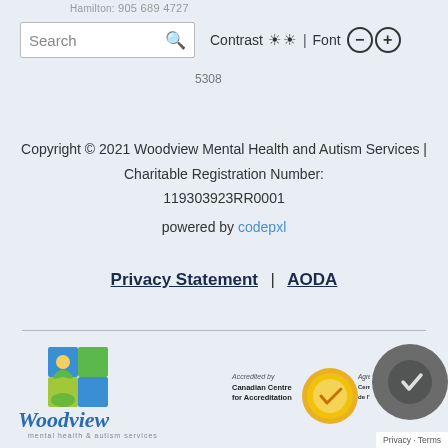Hamilton: 905 689 4727 | Search | Contrast | Font
Copyright © 2021 Woodview Mental Health and Autism Services | Charitable Registration Number: 119303923RR0001
powered by codepxl
Privacy Statement | AODA
[Figure (logo): Woodview Mental Health and Autism Services logo with green/yellow/blue graphic and script wordmark]
[Figure (logo): Accredited by Canadian Centre for Accreditation gold seal logo, partially visible second accreditation logo]